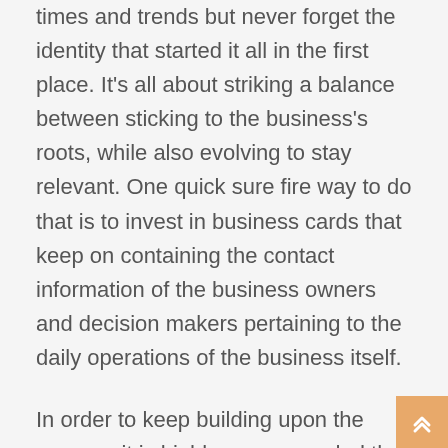times and trends but never forget the identity that started it all in the first place. It's all about striking a balance between sticking to the business's roots, while also evolving to stay relevant. One quick sure fire way to do that is to invest in business cards that keep on containing the contact information of the business owners and decision makers pertaining to the daily operations of the business itself.

In order to keep building upon the success it is highly recommended that Metal Kards be used because it is a trusted name, and it has a